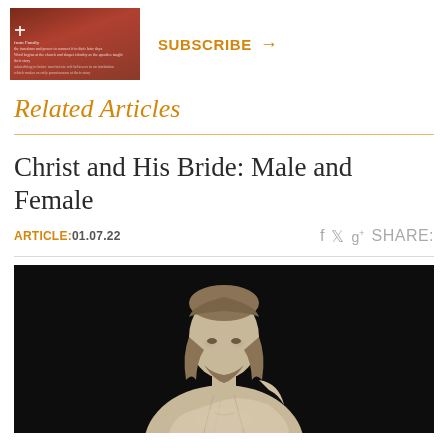[Figure (photo): Small thumbnail image with reddish-brown background showing a religious figure, with text overlay]
SUBSCRIBE →
Related Articles
Christ and His Bride: Male and Female
ARTICLE: 01.07.22   f  🐦  g+  SHARE:
[Figure (photo): Black and white photo of a marble statue of Christ with flowing robes and long hair, shown from the torso up against a dark background]